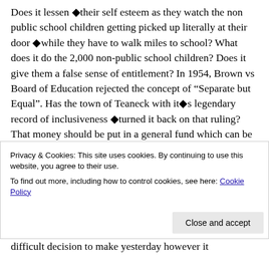Does it lessen ◆their self esteem as they watch the non public school children getting picked up literally at their door ◆while they have to walk miles to school? What does it do the 2,000 non-public school children? Does it give them a false sense of entitlement? In 1954, Brown vs Board of Education rejected the concept of “Separate but Equal”. Has the town of Teaneck with it◆s legendary record of inclusiveness ◆turned it back on that ruling? That money should be put in a general fund which can be match by other
Privacy & Cookies: This site uses cookies. By continuing to use this website, you agree to their use.
To find out more, including how to control cookies, see here: Cookie Policy
difficult decision to make yesterday however it